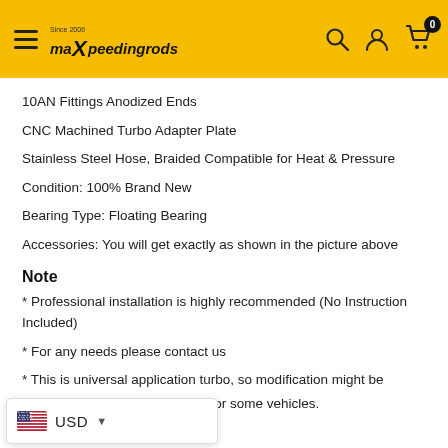maXpeedingrods — navigation header with hamburger menu, logo, search, account, and cart icons
10AN Fittings Anodized Ends
CNC Machined Turbo Adapter Plate
Stainless Steel Hose, Braided Compatible for Heat & Pressure
Condition: 100% Brand New
Bearing Type: Floating Bearing
Accessories: You will get exactly as shown in the picture above
Note
* Professional installation is highly recommended (No Instruction Included)
* For any needs please contact us
* This is universal application turbo, so modification might be compatible for some vehicles.